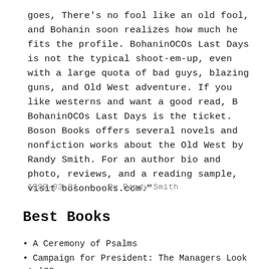goes, There's no fool like an old fool, and Bohanin soon realizes how much he fits the profile. BohaninOCOs Last Days is not the typical shoot-em-up, even with a large quota of bad guys, blazing guns, and Old West adventure. If you like westerns and want a good read, B BohaninOCOs Last Days is the ticket. Boson Books offers several novels and nonfiction works about the Old West by Randy Smith. For an author bio and photo, reviews, and a reading sample, visit bosonbooks.com."
1999-03-01  /  By Randy Smith
Best Books
A Ceremony of Psalms
Campaign for President: The Managers Look at '88